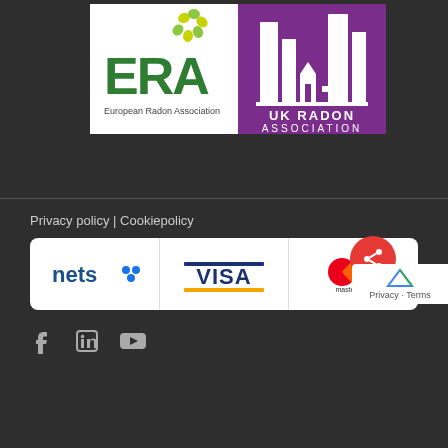[Figure (logo): ERA (European Radon Association) logo - green letters with yellow-green globe graphic above]
[Figure (logo): UK Radon Association logo - purple building/city silhouette graphic with text UK RADON ASSOCIATION]
Privacy policy | Cookiepolicy
[Figure (logo): Payment logos: nets (blue text with dots), VISA (blue text with gold/dark blue bars), mastercard (overlapping red and gold circles)]
[Figure (logo): Social media icons: Facebook, LinkedIn, YouTube]